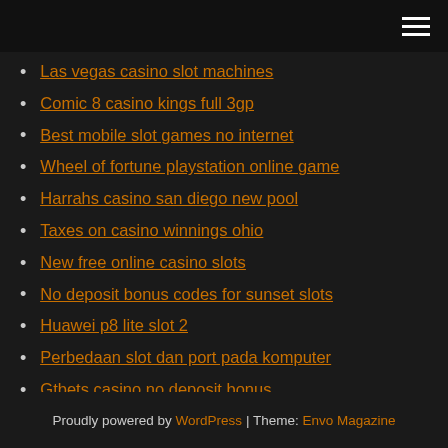[hamburger menu icon]
Las vegas casino slot machines
Comic 8 casino kings full 3gp
Best mobile slot games no internet
Wheel of fortune playstation online game
Harrahs casino san diego new pool
Taxes on casino winnings ohio
New free online casino slots
No deposit bonus codes for sunset slots
Huawei p8 lite slot 2
Perbedaan slot dan port pada komputer
Gtbets casino no deposit bonus
Proudly powered by WordPress | Theme: Envo Magazine